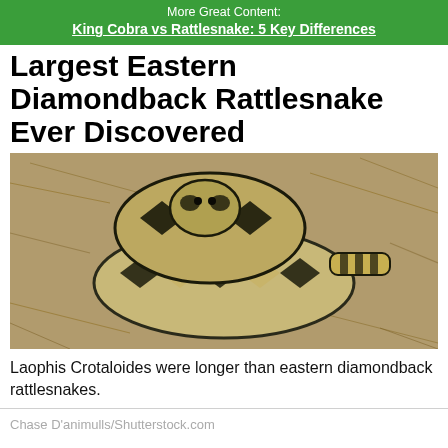More Great Content:
King Cobra vs Rattlesnake: 5 Key Differences
Largest Eastern Diamondback Rattlesnake Ever Discovered
[Figure (photo): A coiled eastern diamondback rattlesnake resting on dry pine needles, showing distinctive black and tan diamond pattern scales]
Laophis Crotaloides were longer than eastern diamondback rattlesnakes.
Chase D'animulls/Shutterstock.com